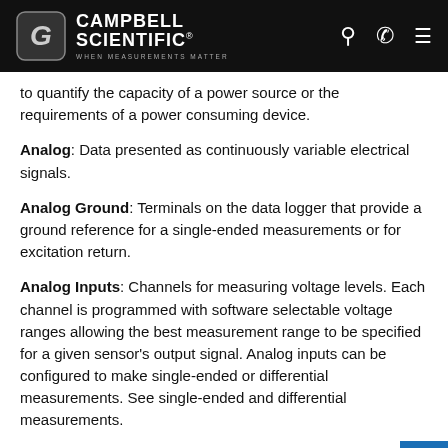Campbell Scientific — When Measurements Matter
to quantify the capacity of a power source or the requirements of a power consuming device.
Analog: Data presented as continuously variable electrical signals.
Analog Ground: Terminals on the data logger that provide a ground reference for a single-ended measurements or for excitation return.
Analog Inputs: Channels for measuring voltage levels. Each channel is programmed with software selectable voltage ranges allowing the best measurement range to be specified for a given sensor's output signal. Analog inputs can be configured to make single-ended or differential measurements. See single-ended and differential measurements.
Analog Voltage Resolution: The smallest change in